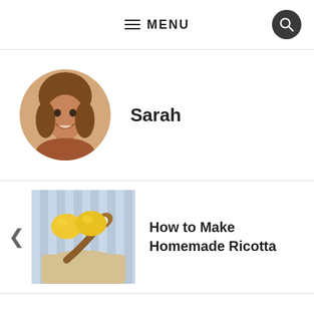≡ MENU
[Figure (photo): Circular profile photo of a smiling young woman with long brown hair]
Sarah
[Figure (photo): Photo of lemons and homemade ricotta cheese on a wooden spoon with parchment paper, on a blue and white striped background]
How to Make Homemade Ricotta